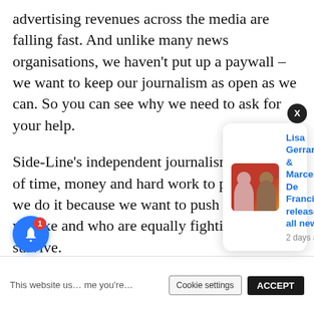advertising revenues across the media are falling fast. And unlike many news organisations, we haven't put up a paywall – we want to keep our journalism as open as we can. So you can see why we need to ask for your help.
Side-Line's independent journalism takes a lot of time, money and hard work to produce. But we do it because we want to push the artists we like and who are equally fighting to survive.
If everyone who reads our reporting, who likes it, helps fund it, our future would be much more
This website us... me you're...
[Figure (other): Notification popup showing Lisa Gerrard & Marcello De Francisci with thumbnail photo on red background, title 'Lisa Gerrard & Marcello De Francisci release all new', date '2 days ago'. Also shows bell notification button with badge '1' and X close button.]